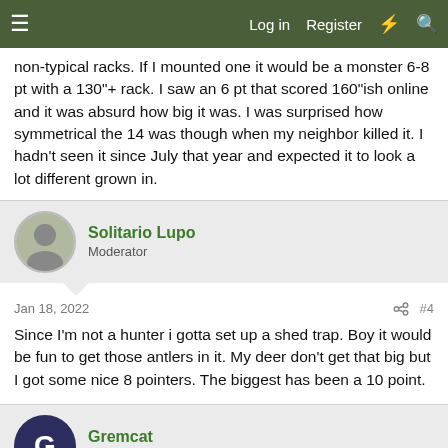Log in  Register
non-typical racks. If I mounted one it would be a monster 6-8 pt with a 130"+rack. I saw an 6 pt that scored 160"ish online and it was absurd how big it was. I was surprised how symmetrical the 14 was though when my neighbor killed it. I hadn't seen it since July that year and expected it to look a lot different grown in.
Solitario Lupo
Moderator
Jan 18, 2022
#4
Since I'm not a hunter i gotta set up a shed trap. Boy it would be fun to get those antlers in it. My deer don't get that big but I got some nice 8 pointers. The biggest has been a 10 point.
Gremcat
Well-known member